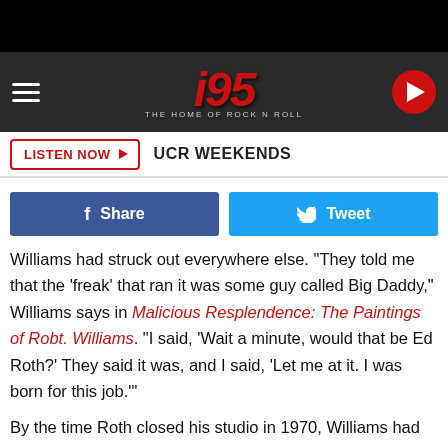[Figure (screenshot): Black top bar]
i95 The Home of Rock N Roll - navigation bar with hamburger menu, i95 logo, and play button
LISTEN NOW ▶  UCR WEEKENDS
[Figure (other): Social share buttons: Share (Facebook) and Tweet (Twitter)]
Williams had struck out everywhere else. "They told me that the 'freak' that ran it was some guy called Big Daddy," Williams says in Malicious Resplendence: The Paintings of Robt. Williams. "I said, 'Wait a minute, would that be Ed Roth?' They said it was, and I said, 'Let me at it. I was born for this job.'"
By the time Roth closed his studio in 1970, Williams had become Big Daddy's art director. That led to a stint at Zap Comix with Robert Crumb, who had illustrated famous album